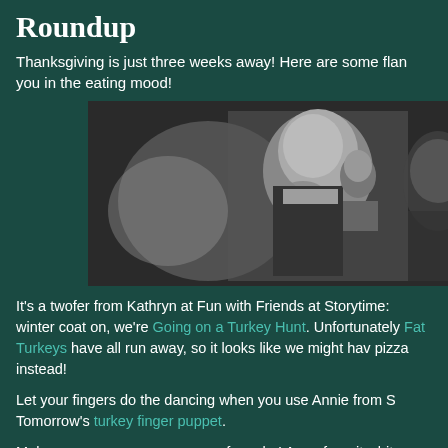Roundup
Thanksgiving is just three weeks away! Here are some flannel you in the eating mood!
[Figure (photo): Black and white photo of a person in dark clothing eating something, with blurred background figures]
It's a twofer from Kathryn at Fun with Friends at Storytime: with winter coat on, we're Going on a Turkey Hunt. Unfortunately Fat Turkeys have all run away, so it looks like we might have pizza instead!
Let your fingers do the dancing when you use Annie from S Tomorrow's turkey finger puppet.
Make sure you save some room for cake! Anne from itsybits